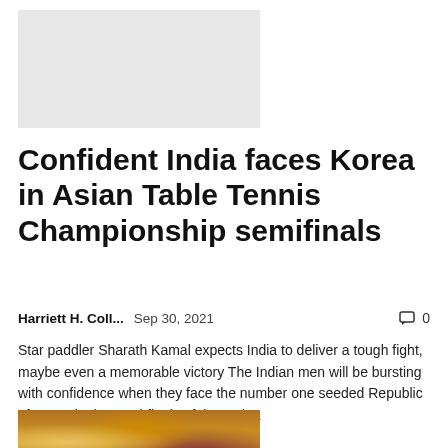[Figure (photo): Gray placeholder image at top left]
Confident India faces Korea in Asian Table Tennis Championship semifinals
Harriett H. Coll...   Sep 30, 2021   0
Star paddler Sharath Kamal expects India to deliver a tough fight, maybe even a memorable victory The Indian men will be bursting with confidence when they face the number one seeded Republic of Korea in the semi-finals of the 25th...
[Figure (photo): Crowd photo at bottom left, people in yellow and red colors]